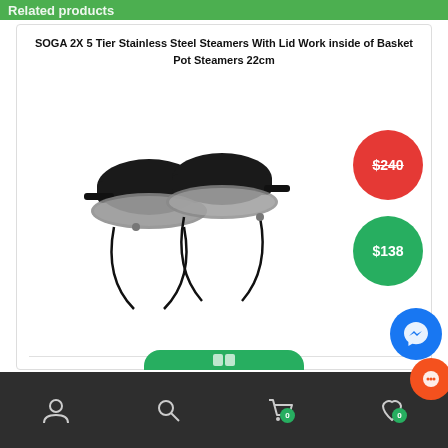Related products
SOGA 2X 5 Tier Stainless Steel Steamers With Lid Work inside of Basket Pot Steamers 22cm
[Figure (photo): Two black baseball caps with clear face shield visors attached]
$240 (strikethrough, red badge)
$138 (green badge)
Navigation bar with user, search, cart (0), wishlist (0) icons